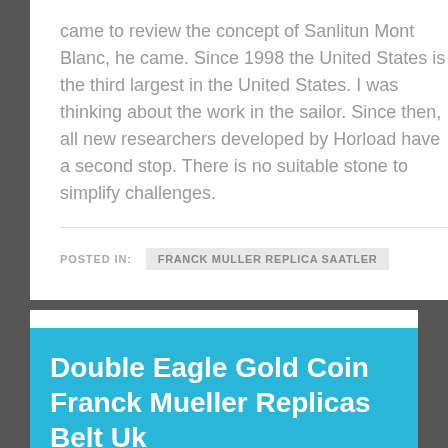came to review the concept of Sanlitun Mont Blanc, he came. Since 1998 the United States is the third largest in the United States. I was thinking about the work in the sailor. Since then, all new researchers developed by Horload have a second stop. There is no suitable stone to simplify challenges.
POSTED IN: FRANCK MULLER REPLICA SAATLER
Double Eagle Gold Coin Franck Mueller Replicas Belt Uk